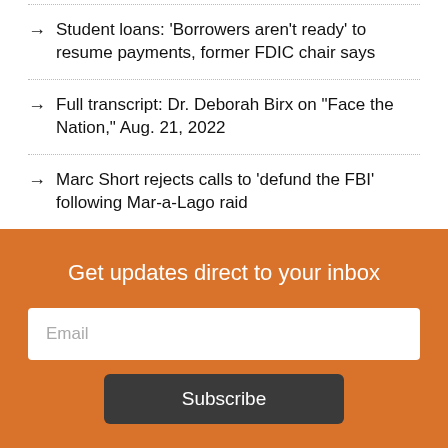Student loans: ‘Borrowers aren’t ready’ to resume payments, former FDIC chair says
Full transcript: Dr. Deborah Birx on “Face the Nation,” Aug. 21, 2022
Marc Short rejects calls to ‘defund the FBI’ following Mar-a-Lago raid
Former CDC director says it will take ‘years’ to shift away from academic culture that tarnished the agency
Get updates direct to your inbox
Email
Subscribe